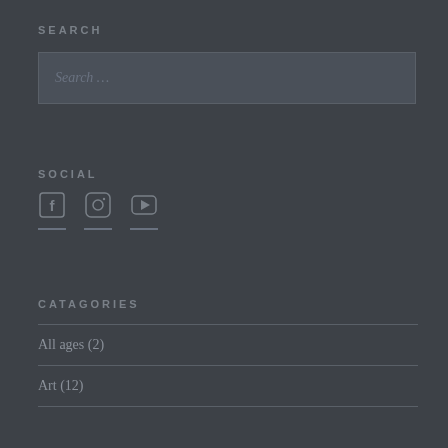SEARCH
Search ...
SOCIAL
[Figure (other): Social media icons: Facebook, Instagram, YouTube]
CATAGORIES
All ages (2)
Art (12)